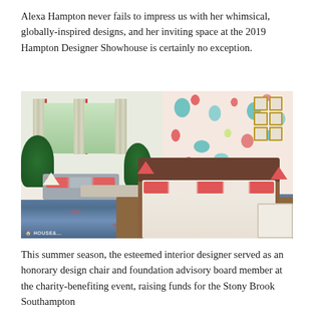Alexa Hampton never fails to impress us with her whimsical, globally-inspired designs, and her inviting space at the 2019 Hampton Designer Showhouse is certainly no exception.
[Figure (photo): Interior bedroom photo from the 2019 Hampton Designer Showhouse designed by Alexa Hampton. Features a large wooden sleigh bed with coral/red and white pillows, colorful floral wallpaper in teal and red, multiple framed artworks on the wall, floor lamps with red lampshades, a tufted bench at the foot of the bed, a sitting area with gray sofa and coral pillows, lush plants, and a blue Persian-style area rug.]
This summer season, the esteemed interior designer served as an honorary design chair and foundation advisory board member at the charity-benefiting event, raising funds for the Stony Brook Southampton